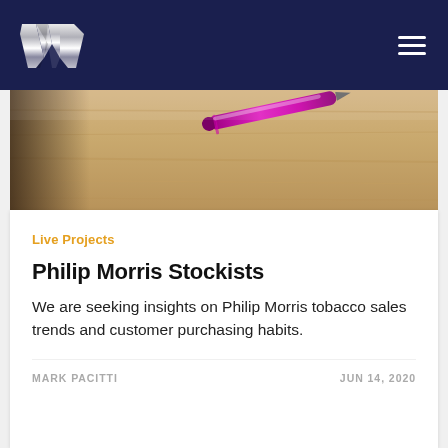[Figure (logo): Stylized silver W logo on dark navy background with hamburger menu icon on the right]
[Figure (photo): Close-up photo of a wooden desk surface with a pink/magenta pen or marker resting on it]
Live Projects
Philip Morris Stockists
We are seeking insights on Philip Morris tobacco sales trends and customer purchasing habits.
MARK PACITTI    JUN 14, 2020